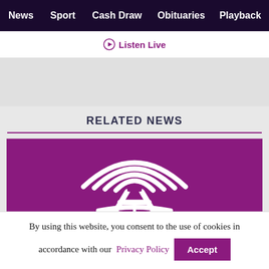News  Sport  Cash Draw  Obituaries  Playback  S
Listen Live
RELATED NEWS
[Figure (logo): Purple background with white radio tower / book logo (antenna with signal waves above open book)]
By using this website, you consent to the use of cookies in accordance with our Privacy Policy
Accept